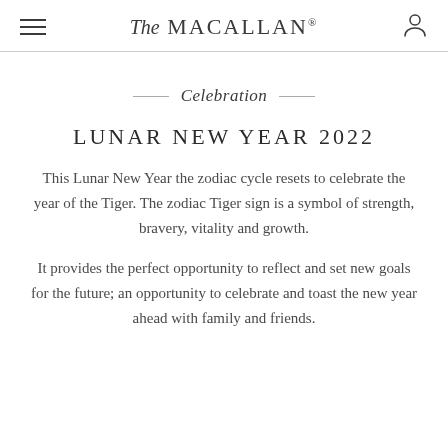The MACALLAN®
Celebration
LUNAR NEW YEAR 2022
This Lunar New Year the zodiac cycle resets to celebrate the year of the Tiger. The zodiac Tiger sign is a symbol of strength, bravery, vitality and growth.
It provides the perfect opportunity to reflect and set new goals for the future; an opportunity to celebrate and toast the new year ahead with family and friends.